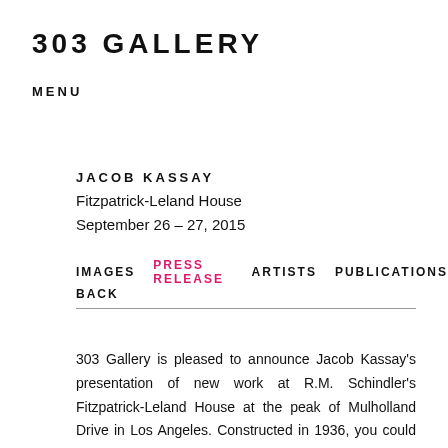303 GALLERY
MENU
JACOB KASSAY
Fitzpatrick-Leland House
September 26 – 27, 2015
IMAGES
PRESS RELEASE
ARTISTS
PUBLICATIONS
BACK
303 Gallery is pleased to announce Jacob Kassay's presentation of new work at R.M. Schindler's Fitzpatrick-Leland House at the peak of Mulholland Drive in Los Angeles. Constructed in 1936, you could almost say